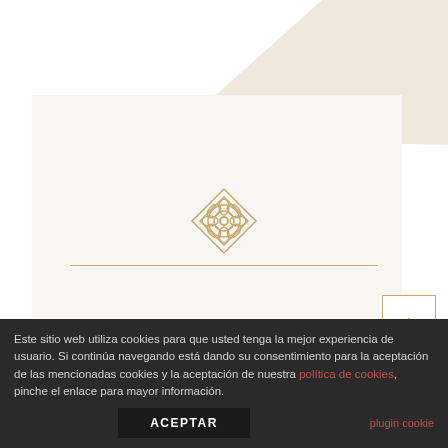[Figure (logo): Gold geometric mandala/flower ornament logo above a thin gold horizontal line]
HEALTHY SHOP
Este sitio web utiliza cookies para que usted tenga la mejor experiencia de usuario. Si continúa navegando está dando su consentimiento para la aceptación de las mencionadas cookies y la aceptación de nuestra política de cookies, pinche el enlace para mayor información.
plugin cookie
ACEPTAR